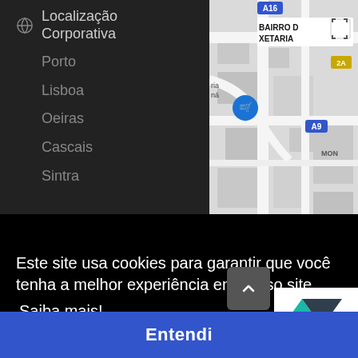Localização Corporativa
Porto
Lisboa
Oeiras
Cascais
Sintra
[Figure (map): Street map showing BAIRRO D XETARIA area with roads A16, A9, labeled areas, and a blue shopping cart location marker pin]
Este site usa cookies para garantir que você tenha a melhor experiência em nosso site. Saiba mais!
Entendi